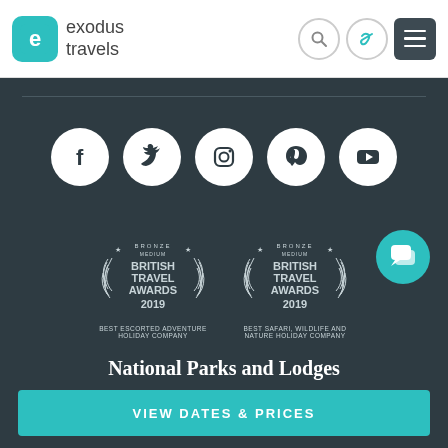[Figure (logo): Exodus Travels logo with teal rounded square icon containing letter e, and text 'exodus travels']
[Figure (infographic): Social media icons row: Facebook, Twitter, Instagram, Pinterest, YouTube - white circles on dark background]
[Figure (infographic): Two British Travel Awards 2019 Bronze Medium badges: 'Best Escorted Adventure Holiday Company' and 'Best Safari, Wildlife and Nature Holiday Company', with teal chat bubble icon]
National Parks and Lodges
VIEW DATES & PRICES